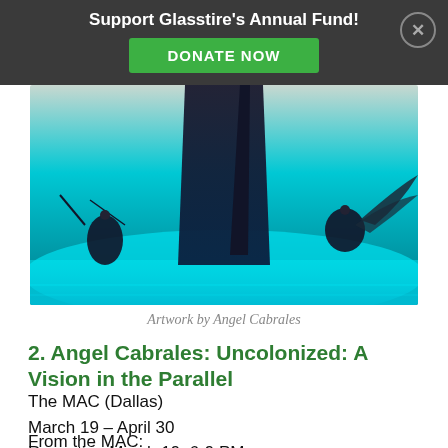Support Glasstire's Annual Fund! DONATE NOW
[Figure (photo): Artwork by Angel Cabrales — a sculptural installation with illuminated teal/cyan glowing surface, dark sculptural forms rising from the center, and figurines with wings on either side.]
Artwork by Angel Cabrales
2. Angel Cabrales: Uncolonized: A Vision in the Parallel
The MAC (Dallas)
March 19 – April 30
Reception March 19, 6-9 PM
From the MAC: